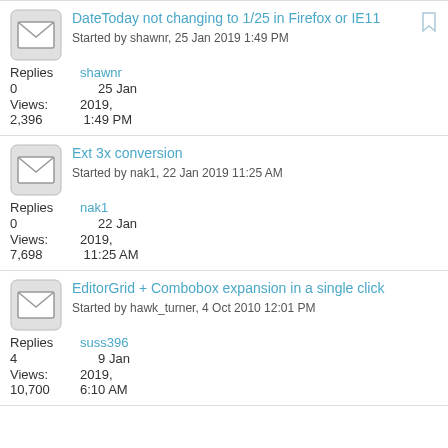DateToday not changing to 1/25 in Firefox or IE11
Started by shawnr, 25 Jan 2019 1:49 PM
Replies: 0  shawnr  25 Jan
Views: 2,396  2019, 1:49 PM
Ext 3x conversion
Started by nak1, 22 Jan 2019 11:25 AM
Replies: 0  nak1  22 Jan
Views: 7,698  2019, 11:25 AM
EditorGrid + Combobox expansion in a single click
Started by hawk_turner, 4 Oct 2010 12:01 PM
Replies: 4  suss396  9 Jan
Views: 10,700  2019, 6:10 AM